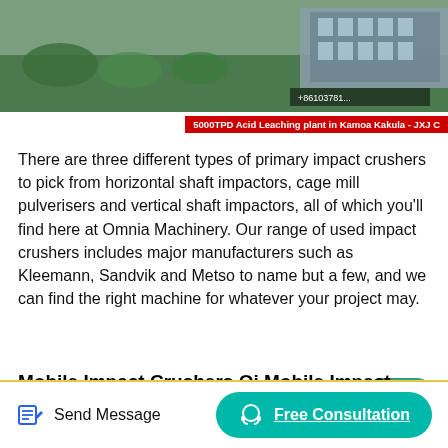[Figure (photo): Aerial or landscape view of an industrial facility with greenery in the foreground and a large building structure in the background.]
5000TPD Acid Leaching plant in Kamoa Kakula - JXJ C
There are three different types of primary impact crushers to pick from horizontal shaft impactors, cage mill pulverisers and vertical shaft impactors, all of which you'll find here at Omnia Machinery. Our range of used impact crushers includes major manufacturers such as Kleemann, Sandvik and Metso to name but a few, and we can find the right machine for whatever your project may.
Mobile Impact Crushers Qi Mobile Impact Crusher — Srp
Oct 02, 2021 Metso Mobile Crusher for Sale - Track Wheel-type Crusher Metso jaw crusher hanbo 400 600 line - Factory Wholesale Price Metso China Jaw Crusher 400X600, Stone Jaw Crusher Mining Crusher - Metso quarry used mini mobile primary jaw crusher